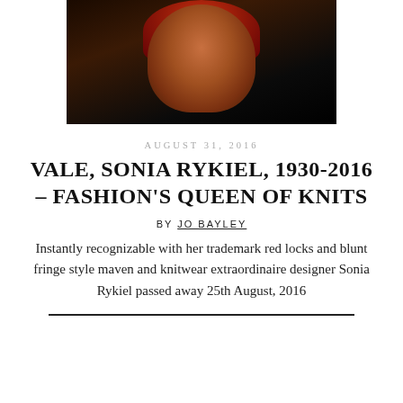[Figure (photo): Portrait photograph of Sonia Rykiel, showing an elderly woman with distinctive red/auburn hair against a dark background]
AUGUST 31, 2016
VALE, SONIA RYKIEL, 1930-2016 – FASHION'S QUEEN OF KNITS
BY JO BAYLEY
Instantly recognizable with her trademark red locks and blunt fringe style maven and knitwear extraordinaire designer Sonia Rykiel passed away 25th August, 2016